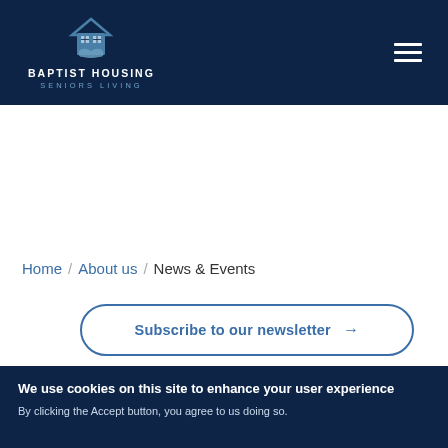[Figure (logo): Baptist Housing Seniors Living logo with house and hand icon in white/light blue on dark navy background]
Home / About us / News & Events
Subscribe to our newsletter →
We use cookies on this site to enhance your user experience
By clicking the Accept button, you agree to us doing so.